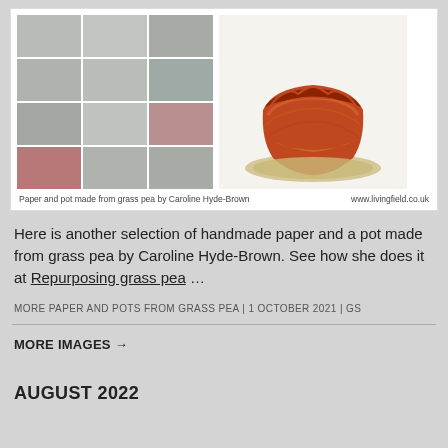[Figure (photo): A collage of handmade paper samples (grid of 12 texture swatches in grays, pinks, and taupes) alongside a photo of a reddish-orange pot made from grass pea sitting on sand, on a white background. Caption reads: Paper and pot made from grass pea by Caroline Hyde-Brown | www.livingfield.co.uk]
Paper and pot made from grass pea by Caroline Hyde-Brown   www.livingfield.co.uk
Here is another selection of handmade paper and a pot made from grass pea by Caroline Hyde-Brown. See how she does it at Repurposing grass pea …
MORE PAPER AND POTS FROM GRASS PEA | 1 OCTOBER 2021 | GS
MORE IMAGES →
AUGUST 2022